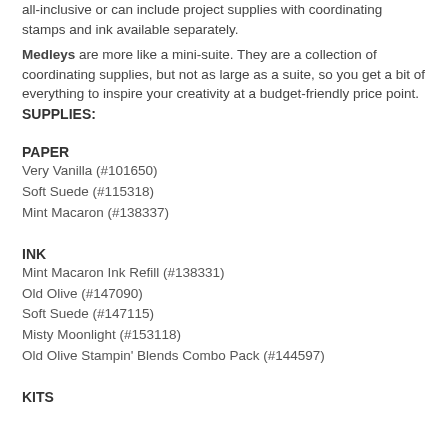all-inclusive or can include project supplies with coordinating stamps and ink available separately.
Medleys are more like a mini-suite. They are a collection of coordinating supplies, but not as large as a suite, so you get a bit of everything to inspire your creativity at a budget-friendly price point.
SUPPLIES:
PAPER
Very Vanilla (#101650)
Soft Suede (#115318)
Mint Macaron (#138337)
INK
Mint Macaron Ink Refill (#138331)
Old Olive (#147090)
Soft Suede (#147115)
Misty Moonlight (#153118)
Old Olive Stampin' Blends Combo Pack (#144597)
KITS